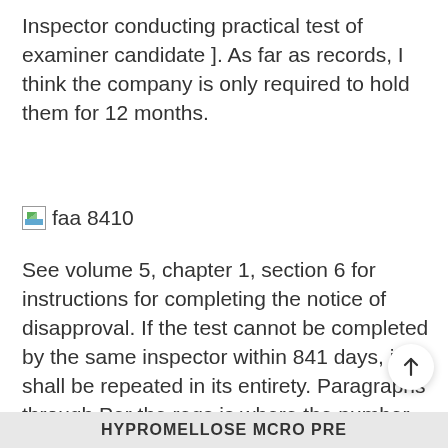Inspector conducting practical test of examiner candidate ]. As far as records, I think the company is only required to hold them for 12 months.
[Figure (other): Broken image placeholder icon followed by text 'faa 8410']
See volume 5, chapter 1, section 6 for instructions for completing the notice of disapproval. If the test cannot be completed by the same inspector within 841 days, it shall be repeated in its entirety. Paragraphs through Per the regs is where the number comes from. Applicant Arrives for Appointment.
HYPROMELLOSE MCRO PRE